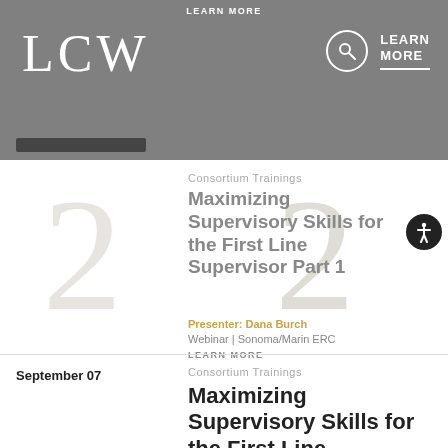LEARN MORE
[Figure (logo): LCW logo in white on grey background with search icon and LEARN MORE text on the right]
September [redacted]
Consortium Trainings
Maximizing Supervisory Skills for the First Line Supervisor Part 1
Presenter: Dana Burch
Webinar | Sonoma/Marin ERC
LEARN MORE
September 07
Consortium Trainings
Maximizing Supervisory Skills for the First Line